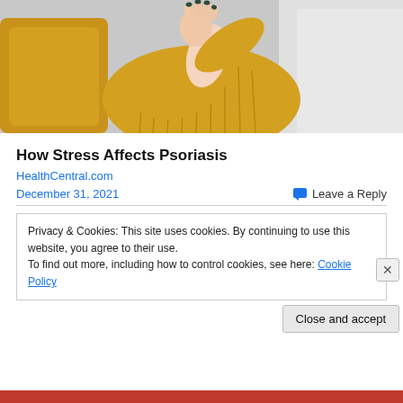[Figure (photo): Person in yellow knit sweater scratching their wrist/arm, sitting on a couch with yellow and grey pillows in the background.]
How Stress Affects Psoriasis
HealthCentral.com
December 31, 2021
Leave a Reply
Privacy & Cookies: This site uses cookies. By continuing to use this website, you agree to their use.
To find out more, including how to control cookies, see here: Cookie Policy